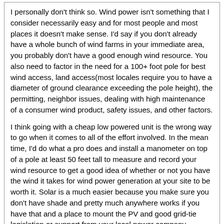I personally don't think so. Wind power isn't something that I consider necessarily easy and for most people and most places it doesn't make sense. I'd say if you don't already have a whole bunch of wind farms in your immediate area, you probably don't have a good enough wind resource. You also need to factor in the need for a 100+ foot pole for best wind access, land access(most locales require you to have a diameter of ground clearance exceeding the pole height), the permitting, neighbor issues, dealing with high maintenance of a consumer wind product, safety issues, and other factors.

I think going with a cheap low powered unit is the wrong way to go when it comes to all of the effort involved. In the mean time, I'd do what a pro does and install a manometer on top of a pole at least 50 feet tall to measure and record your wind resource to get a good idea of whether or not you have the wind it takes for wind power generation at your site to be worth it. Solar is a much easier because you make sure you don't have shade and pretty much anywhere works if you have that and a place to mount the PV and good grid-tie legislation or support from your local power company.
NeilBlanchard
09-08-13 08:53 PM
That is a pretty small generator. Height and swept blade area means more energy output, but that is barely 2 feet in diameter?

Does it have an inverter onboard? Or is it DC output?